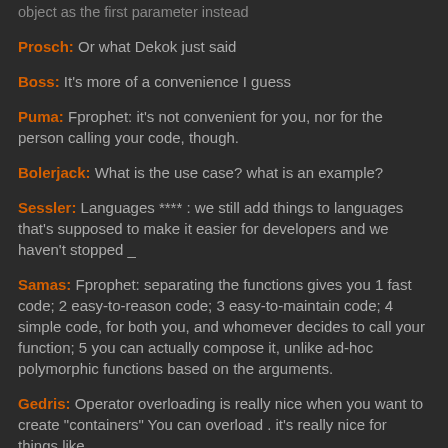object as the first parameter instead
Prosch: Or what Dekok just said
Boss: It's more of a convenience I guess
Puma: Fprophet: it's not convenient for you, nor for the person calling your code, though.
Bolerjack: What is the use case? what is an example?
Sessler: Languages **** : we still add things to languages that's supposed to make it easier for developers and we haven't stopped _
Samas: Fprophet: separating the functions gives you 1 fast code; 2 easy-to-reason code; 3 easy-to-maintain code; 4 simple code, for both you, and whomever decides to call your function; 5 you can actually compose it, unlike ad-hoc polymorphic functions based on the arguments.
Gedris: Operator overloading is really nice when you want to create "containers" You can overload . it's really nice for things like